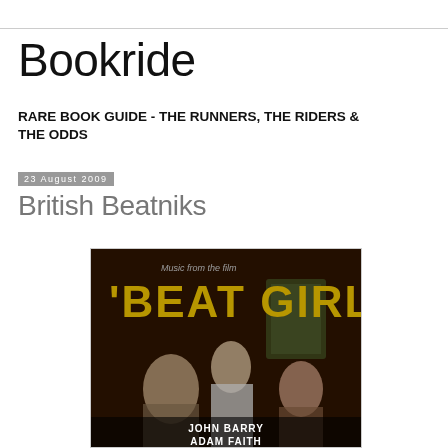Bookride
RARE BOOK GUIDE - THE RUNNERS, THE RIDERS & THE ODDS
23 August 2009
British Beatniks
[Figure (photo): Album cover for 'Beat Girl' - Music from the film. Shows three young people in a dark setting. Credits: John Barry, Adam Faith. Yellow bold text reading 'BEAT GIRL' on dark background.]